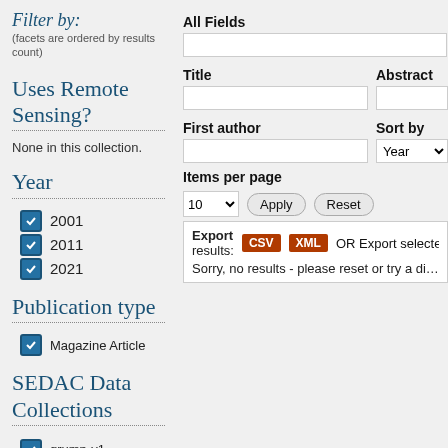Filter by:
(facets are ordered by results count)
Uses Remote Sensing?
None in this collection.
Year
2001
2011
2021
Publication type
Magazine Article
SEDAC Data Collections
grump-v1
All Fields
Title
Abstract
First author
Sort by
Items per page
Export results: CSV XML OR Export selected citations u...
Sorry, no results - please reset or try a differe...